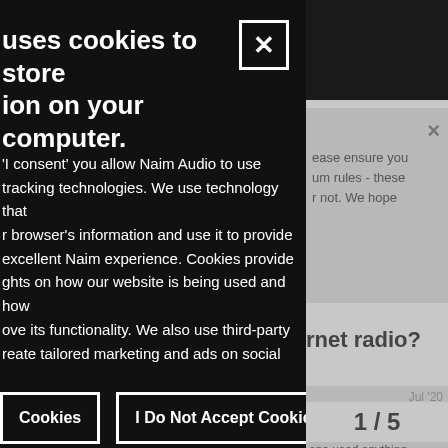[Figure (screenshot): Cookie consent modal overlay on Naim Audio website. Dark/black background modal showing cookie policy text, with two buttons: 'I Accept Cookies' and 'I Do Not Accept Cookies'. Behind the modal, partial website content is visible on the right including a grey notification popup, a heading fragment 'rnet radio?', date 'Jul '20', text fragments about Naim app, and pagination '1 / 5'.]